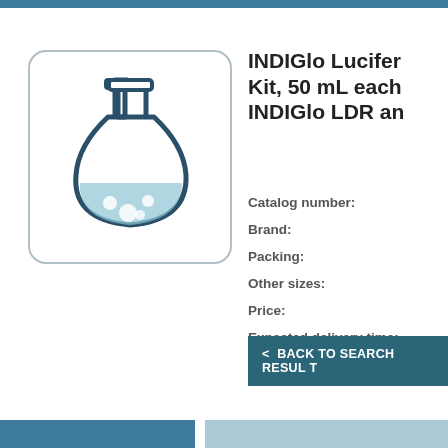[Figure (illustration): Flask/beaker icon with light blue liquid inside, dark teal outline, on white background with rounded rectangle border]
INDIGlo Lucifer Kit, 50 mL each INDIGlo LDR an
Catalog number:
Brand:
Packing:
Other sizes:
Price:
Expected delivery time:
Quantity:
< BACK TO SEARCH RESUL T